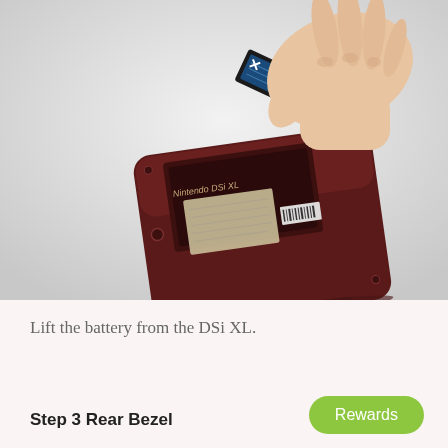[Figure (photo): A hand lifting a battery from the back of a dark red/maroon Nintendo DSi XL gaming handheld device. The device is shown from the back with the battery compartment open, and a hand is pulling out the black battery pack. The background is light gray/white.]
Lift the battery from the DSi XL.
Step 3 Rear Bezel
Rewards